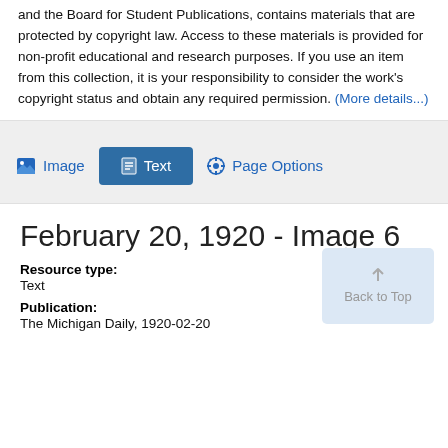and the Board for Student Publications, contains materials that are protected by copyright law. Access to these materials is provided for non-profit educational and research purposes. If you use an item from this collection, it is your responsibility to consider the work's copyright status and obtain any required permission. (More details...)
[Figure (screenshot): Toolbar with Image, Text (active/selected), and Page Options buttons on a gray background]
February 20, 1920 - Image 6
Resource type:
Text
Publication:
The Michigan Daily, 1920-02-20